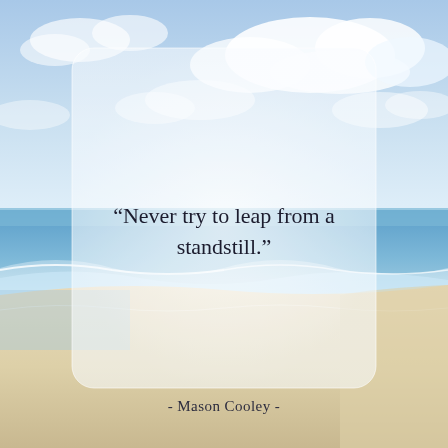[Figure (photo): Beach scene with blue sky, white clouds, ocean waves, and sandy shore in the background. A large frosted/semi-transparent white rounded rectangle card overlays the center of the image.]
“Never try to leap from a standstill.”
- Mason Cooley -